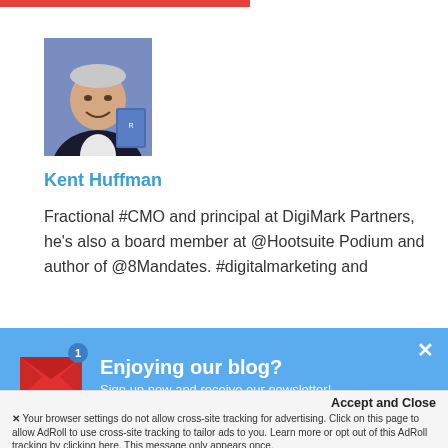[Figure (photo): Profile photo of Kent Huffman, a man in a dark jacket smiling, holding a blue book, against a purple/blue background]
Kent Huffman
Fractional #CMO and principal at DigiMark Partners, he's also a board member at @Hootsuite Podium and author of @8Mandates. #digitalmarketing and
[Figure (infographic): Newsletter signup banner with envelope icon, badge showing '1', text 'Enjoying our blog?' and 'Sign up now and receive our newsletter!' on a blue background with a close X button]
Accept and Close
✕ Your browser settings do not allow cross-site tracking for advertising. Click on this page to allow AdRoll to use cross-site tracking to tailor ads to you. Learn more or opt out of this AdRoll tracking by clicking here. This message only appears once.